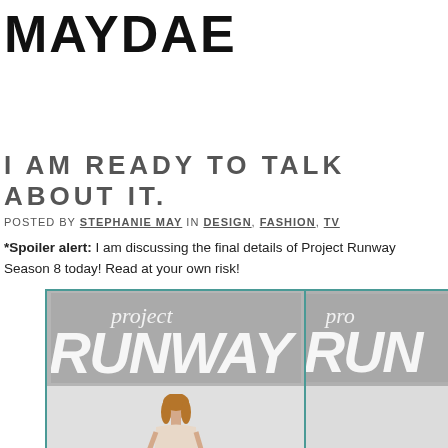MAYDAE
I AM READY TO TALK ABOUT IT.
POSTED BY STEPHANIE MAY IN DESIGN, FASHION, TV
*Spoiler alert: I am discussing the final details of Project Runway Season 8 today! Read at your own risk!
[Figure (photo): Two side-by-side images showing the Project Runway logo (project RUNWAY in stylized text) above a model on a runway.]